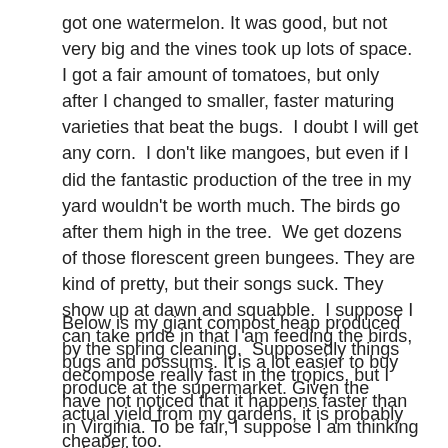got one watermelon. It was good, but not very big and the vines took up lots of space.  I got a fair amount of tomatoes, but only after I changed to smaller, faster maturing varieties that beat the bugs.  I doubt I will get any corn.  I don't like mangoes, but even if I did the fantastic production of the tree in my yard wouldn't be worth much. The birds go after them high in the tree.  We get dozens of those florescent green bungees. They are kind of pretty, but their songs suck. They show up at dawn and squabble.  I suppose I can take pride in that I am feeding the birds, bugs and possums. It is a lot easier to buy produce at the supermarket. Given the actual yield from my gardens, it is probably cheaper too.
Below is my giant compost heap produced by the spring cleaning.  Supposedly things decompose really fast in the tropics, but I have not noticed that it happens faster than in Virginia. To be fair, I suppose I am thinking only of the